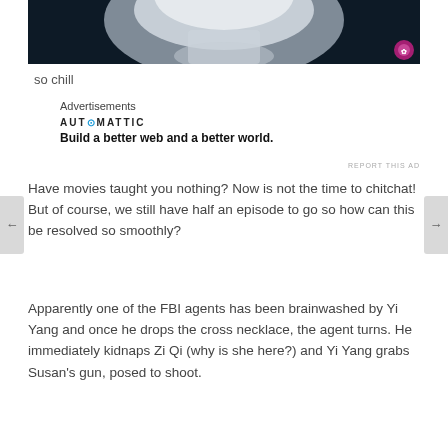[Figure (photo): Cropped portrait of a person in a white outfit against a dark background, close-up on lower face/chin area]
so chill
Advertisements
AUTOMATTIC
Build a better web and a better world.
REPORT THIS AD
Have movies taught you nothing? Now is not the time to chitchat! But of course, we still have half an episode to go so how can this be resolved so smoothly?
Apparently one of the FBI agents has been brainwashed by Yi Yang and once he drops the cross necklace, the agent turns. He immediately kidnaps Zi Qi (why is she here?) and Yi Yang grabs Susan's gun, posed to shoot.